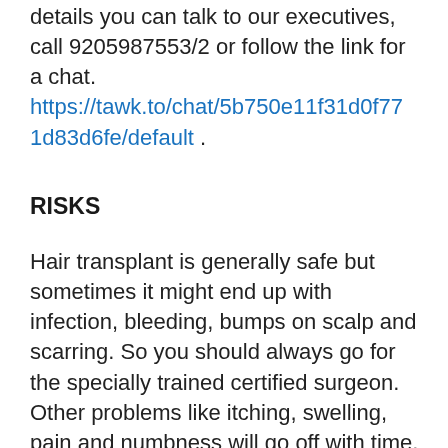details you can talk to our executives, call 9205987553/2 or follow the link for a chat. https://tawk.to/chat/5b750e11f31d0f771d83d6fe/default .
RISKS
Hair transplant is generally safe but sometimes it might end up with infection, bleeding, bumps on scalp and scarring. So you should always go for the specially trained certified surgeon. Other problems like itching, swelling, pain and numbness will go off with time.
POST SURGERY EXPENSES
After the surgery a few medications are